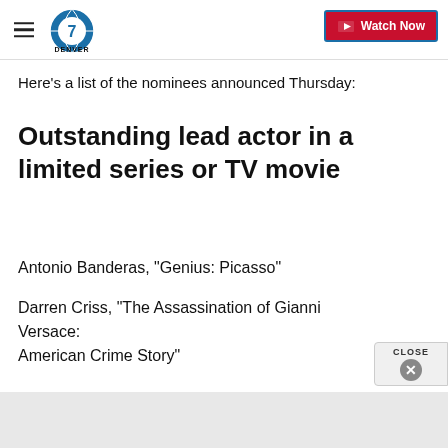Denver7 | Watch Now
Here's a list of the nominees announced Thursday:
Outstanding lead actor in a limited series or TV movie
Antonio Banderas, "Genius: Picasso"
Darren Criss, "The Assassination of Gianni Versace: American Crime Story"